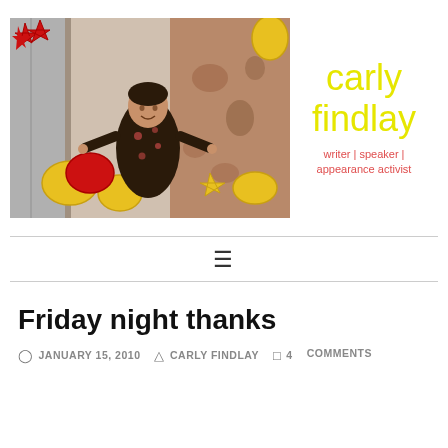[Figure (photo): Woman standing among large red and gold balloon letters/stars, wearing a dark floral dress, against a decorative wall background]
carly findlay
writer | speaker | appearance activist
≡
Friday night thanks
JANUARY 15, 2010  CARLY FINDLAY  4 COMMENTS